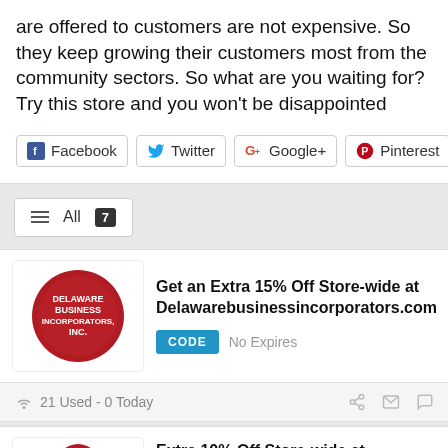are offered to customers are not expensive. So they keep growing their customers most from the community sectors. So what are you waiting for? Try this store and you won't be disappointed
[Figure (infographic): Social share buttons: Facebook, Twitter, Google+, Pinterest]
All 7
Get an Extra 15% Off Store-wide at Delawarebusinessincorporators.com
CODE  No Expires
21 Used - 0 Today
Extra 10% Off Store-wide at